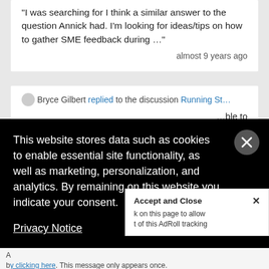"I was searching for I think a similar answer to the question Annick had. I'm looking for ideas/tips on how to gather SME feedback during ..."
almost 9 years ago
Bryce Gilbert replied to the discussion Running St...
...ble to ...d with a ...d, pr... ...ears ago
This website stores data such as cookies to enable essential site functionality, as well as marketing, personalization, and analytics. By remaining on this website you indicate your consent.
Privacy Notice
Accept and Close ×
k on this page to allow t of this AdRoll tracking